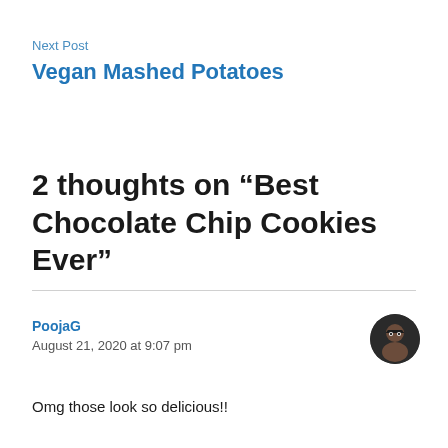Next Post
Vegan Mashed Potatoes
2 thoughts on “Best Chocolate Chip Cookies Ever”
PoojaG
August 21, 2020 at 9:07 pm
Omg those look so delicious!!